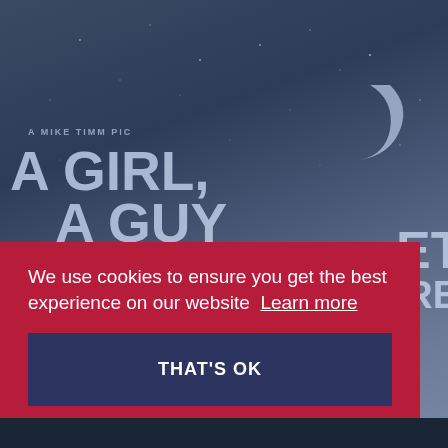[Figure (screenshot): Movie poster background with dark blue/slate night sky, crescent moon in upper right, and white text showing 'A MIKE TIMM PIC' above large title text 'A GIRL, A GUY' with 'ET' and 'ERE.' visible on the right side]
We use cookies to ensure you get the best experience on our website  Learn more
THAT'S OK